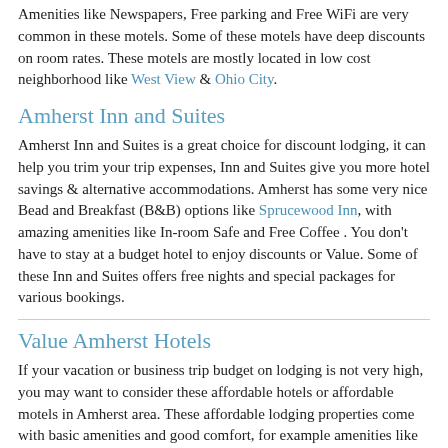Amenities like Newspapers, Free parking and Free WiFi are very common in these motels. Some of these motels have deep discounts on room rates. These motels are mostly located in low cost neighborhood like West View & Ohio City.
Amherst Inn and Suites
Amherst Inn and Suites is a great choice for discount lodging, it can help you trim your trip expenses, Inn and Suites give you more hotel savings & alternative accommodations. Amherst has some very nice Bead and Breakfast (B&B) options like Sprucewood Inn, with amazing amenities like In-room Safe and Free Coffee . You don't have to stay at a budget hotel to enjoy discounts or Value. Some of these Inn and Suites offers free nights and special packages for various bookings.
Value Amherst Hotels
If your vacation or business trip budget on lodging is not very high, you may want to consider these affordable hotels or affordable motels in Amherst area. These affordable lodging properties come with basic amenities and good comfort, for example amenities like Coffeemaker, Express check-in/out and Newspapers. Some of the most affordable hotels are 2 star and 3 star hotels near popular landmarks Old Stone Church,